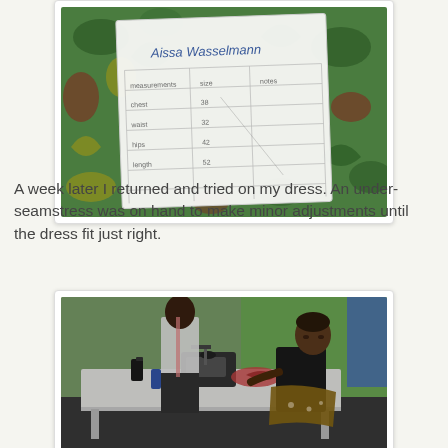[Figure (photo): A handwritten receipt or order slip on white paper placed on green African patterned fabric. The slip reads 'Aissa Wasselmann' at the top with a grid table drawn below containing handwritten entries.]
A week later I returned and tried on my dress. An under-seamstress was on hand to make minor adjustments until the dress fit just right.
[Figure (photo): A seamstress workshop scene: a woman in dark clothing with a patterned wrap skirt sits at a long white sewing table working with fabric. A sewing machine is visible on the table. Another person stands in the background. The room has a green wall and dim lighting.]